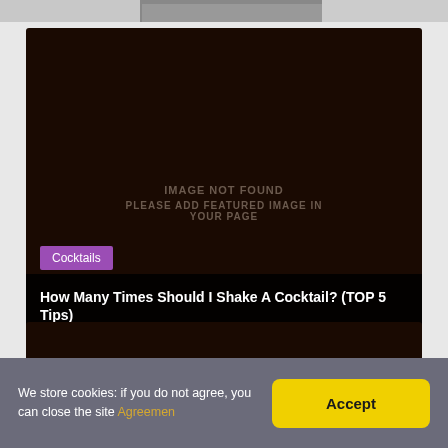Browser chrome / navigation bar
[Figure (screenshot): Dark brown image placeholder card showing 'IMAGE NOT FOUND / PLEASE ADD FEATURED IMAGE IN YOUR PAGE' text, with a purple 'Cocktails' category tag and a black title bar at the bottom.]
How Many Times Should I Shake A Cocktail? (TOP 5 Tips)
[Figure (screenshot): Partially visible second dark brown article card at the bottom of the page.]
We store cookies: if you do not agree, you can close the site Agreemen